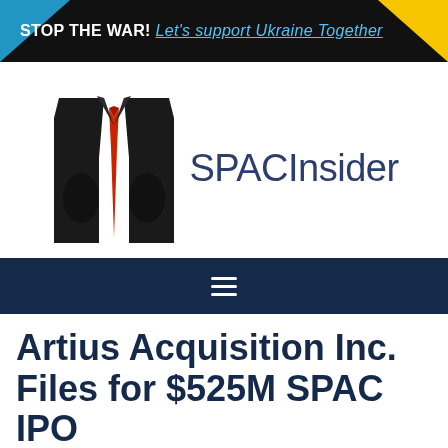STOP THE WAR! Let's support Ukraine Together
[Figure (logo): SPACInsider logo: stylized black suit jacket with red tie, next to text 'SPACInsider' in dark blue]
Artius Acquisition Inc. Files for $525M SPAC IPO